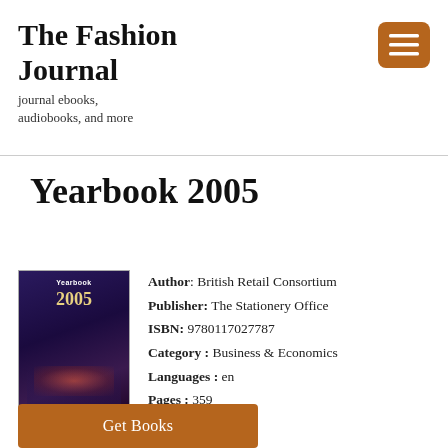The Fashion Journal
journal ebooks, audiobooks, and more
Yearbook 2005
[Figure (photo): Book cover for Yearbook 2005 showing a dark purple/blue conference hall scene with stage lighting and the title Yearbook 2005 in gold text]
Author: British Retail Consortium
Publisher: The Stationery Office
ISBN: 9780117027787
Category : Business & Economics
Languages : en
Pages : 359
Get Books